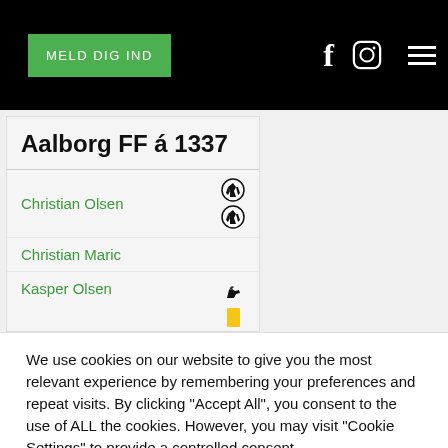MELD DIG IND
Aalborg FF á 1337
Christian Olsen
Christian Maric
Kasper Olsen
We use cookies on our website to give you the most relevant experience by remembering your preferences and repeat visits. By clicking "Accept All", you consent to the use of ALL the cookies. However, you may visit "Cookie Settings" to provide a controlled consent.
Cookie Settings | Accept All